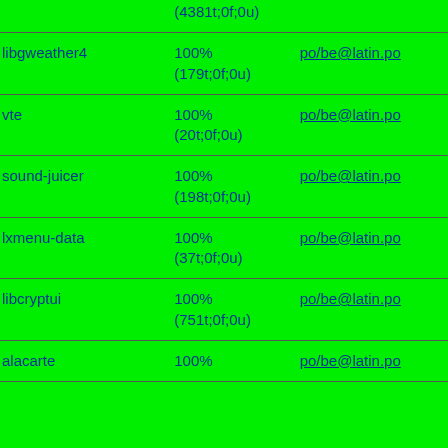|  | (4381t;0f;0u) |  |
| libgweather4 | 100%
(179t;0f;0u) | po/be@latin.po |
| vte | 100%
(20t;0f;0u) | po/be@latin.po |
| sound-juicer | 100%
(198t;0f;0u) | po/be@latin.po |
| lxmenu-data | 100%
(37t;0f;0u) | po/be@latin.po |
| libcryptui | 100%
(751t;0f;0u) | po/be@latin.po |
| alacarte | 100% | po/be@latin.po |